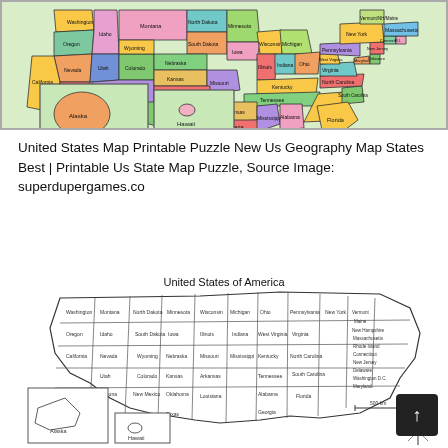[Figure (map): Colorful US map with state names labeled, including Alaska and Hawaii insets. States shown in various colors (green, yellow, orange, purple, pink, blue).]
United States Map Printable Puzzle New Us Geography Map States Best | Printable Us State Map Puzzle, Source Image: superdupergames.co
[Figure (map): Black and white outline map of the United States labeled 'United States of America' with all state names, compass rose, and scale bar. Includes Alaska and Hawaii insets.]